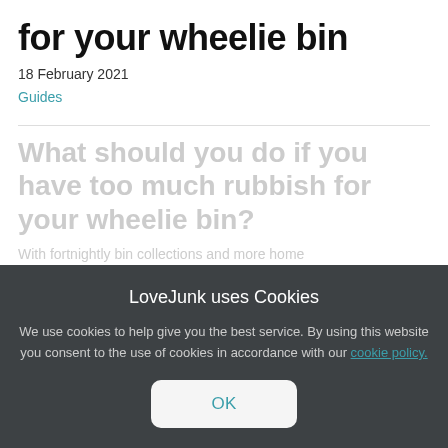for your wheelie bin
18 February 2021
Guides
What should you do if you have too much rubbish for your wheelie bin?
With fortnightly bin collections and more home working,...
LoveJunk uses Cookies
We use cookies to help give you the best service. By using this website you consent to the use of cookies in accordance with our cookie policy.
OK